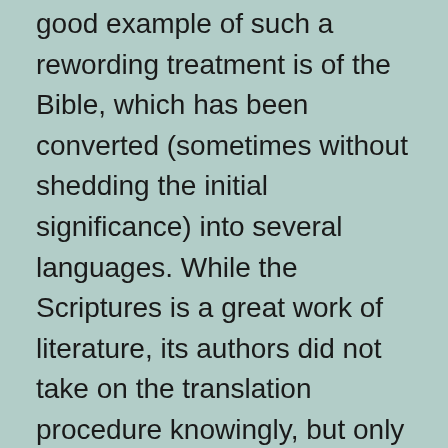good example of such a rewording treatment is of the Bible, which has been converted (sometimes without shedding the initial significance) into several languages. While the Scriptures is a great work of literature, its authors did not take on the translation procedure knowingly, but only stumbled upon it through a procedure of translation.
Composing Systems There are many writing systems. Several of the most common composing systems are Courier New, Modern Greek, Rhayader, Middle English, and also Old English. These systems have their own one-of-